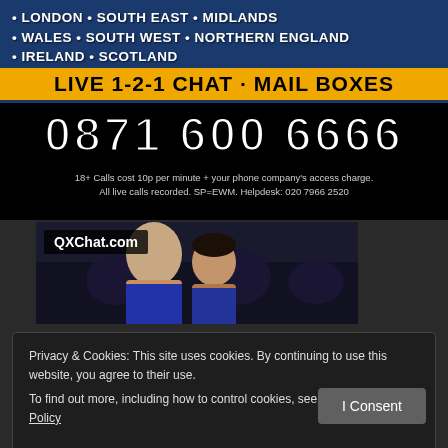• LONDON • SOUTH EAST • MIDLANDS • WALES • SOUTH WEST • NORTHERN ENGLAND • IRELAND • SCOTLAND
LIVE 1-2-1 CHAT · MAIL BOXES
0871 600 6666
18+ Calls cost 10p per minute + your phone company's access charge. All live calls recorded. SP=EWM. Helpdesk: 020 7966 2520
[Figure (photo): QXChat.com logo overlay on photo of two men posing together]
Privacy & Cookies: This site uses cookies. By continuing to use this website, you agree to their use.
To find out more, including how to control cookies, see here: Cookie Policy
I Consent